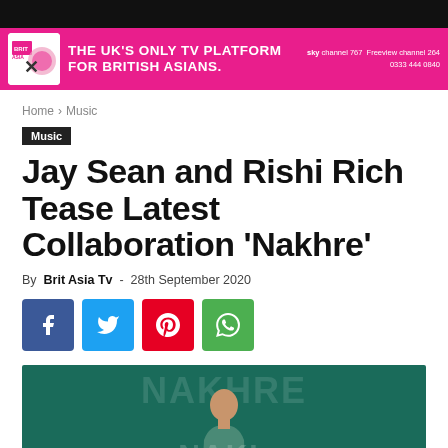Brit Asia TV navigation bar
[Figure (infographic): Brit Asia TV banner ad - THE UK'S ONLY TV PLATFORM FOR BRITISH ASIANS. sky channel 767, Freeview channel 264, 0333 444 0840]
Home › Music
Music
Jay Sean and Rishi Rich Tease Latest Collaboration 'Nakhre'
By Brit Asia Tv - 28th September 2020
[Figure (infographic): Social sharing buttons: Facebook (blue), Twitter (light blue), Pinterest (red), WhatsApp (green)]
[Figure (photo): Article header image with teal/green background showing stylized 'NAKHRE' text and a person (Jay Sean) in the lower center]